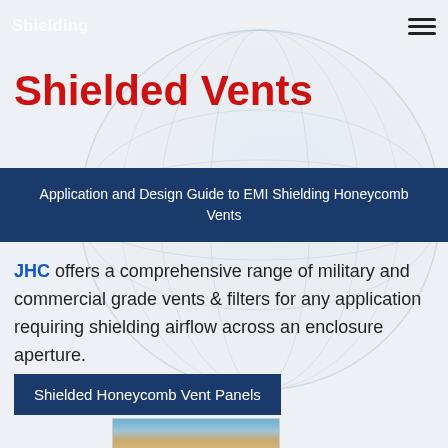Shielding
Shielded Vents
Application and Design Guide to EMI Shielding Honeycomb Vents
JHC offers a comprehensive range of military and commercial grade vents & filters for any application requiring shielding airflow across an enclosure aperture.
Shielded Honeycomb Vent Panels
[Figure (photo): Partial view of a shielded honeycomb vent panel product photo]